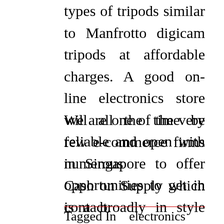types of tripods similar to Manfrotto digicam tripods at affordable charges. A good on-line electronics store will all the time be reliable and open with numerous opportunities to get in contact.
We are one of the very few e-commerce firms in Singapore to offer Cash on Supply which is a broadly in style choice amongst on-line consumers. Purchase easily with a click on of a button with Jumia and luxuriate in the very best buying expertise on-line.
Tagged In    electronics    kaohsiung